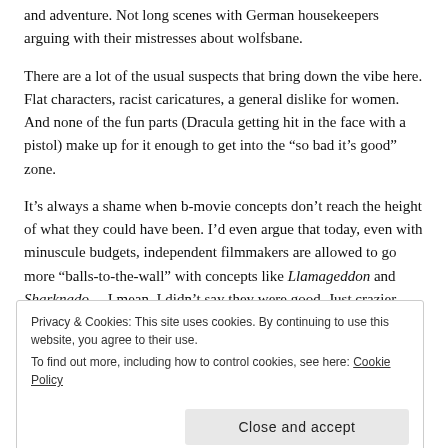and adventure. Not long scenes with German housekeepers arguing with their mistresses about wolfsbane.
There are a lot of the usual suspects that bring down the vibe here. Flat characters, racist caricatures, a general dislike for women. And none of the fun parts (Dracula getting hit in the face with a pistol) make up for it enough to get into the “so bad it’s good” zone.
It’s always a shame when b-movie concepts don’t reach the height of what they could have been. I’d even argue that today, even with minuscule budgets, independent filmmakers are allowed to go more “balls-to-the-wall” with concepts like Llamageddon and Sharknado… I mean, I didn’t say they were good. Just crazier.
Privacy & Cookies: This site uses cookies. By continuing to use this website, you agree to their use. To find out more, including how to control cookies, see here: Cookie Policy
Close and accept